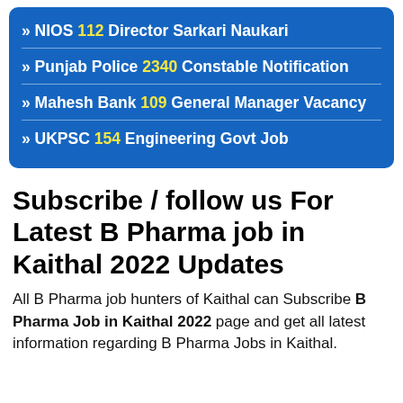» NIOS 112 Director Sarkari Naukari
» Punjab Police 2340 Constable Notification
» Mahesh Bank 109 General Manager Vacancy
» UKPSC 154 Engineering Govt Job
Subscribe / follow us For Latest B Pharma job in Kaithal 2022 Updates
All B Pharma job hunters of Kaithal can Subscribe B Pharma Job in Kaithal 2022 page and get all latest information regarding B Pharma Jobs in Kaithal.